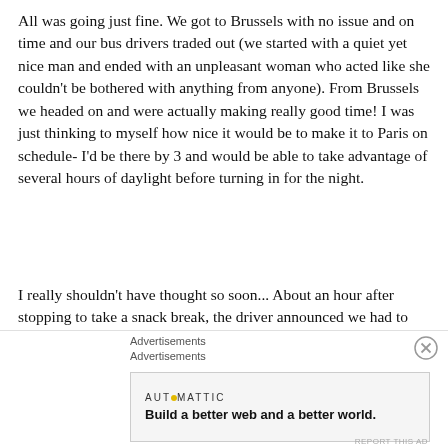All was going just fine.  We got to Brussels with no issue and on time and our bus drivers traded out (we started with a quiet yet nice man and ended with an unpleasant woman who acted like she couldn't be bothered with anything from anyone).  From Brussels we headed on and were actually making really good time!  I was just thinking to myself how nice it would be to make it to Paris on schedule- I'd be there by 3 and would be able to take advantage of several hours of daylight before turning in for the night.
I really shouldn't have thought so soon... About an hour after stopping to take a snack break, the driver announced we had to pull over for gas.  We pulled over for gas and there we sat for a few minutes waiting for the tank to fill.
[Figure (other): Advertisement section showing two 'Advertisements' labels, a close button (X in circle), and an Automattic ad box with logo and tagline 'Build a better web and a better world.']